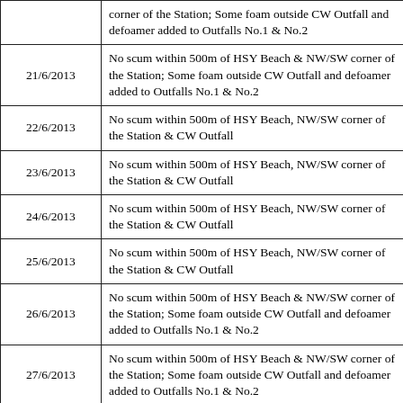| Date | Description |
| --- | --- |
|  | corner of the Station; Some foam outside CW Outfall and defoamer added to Outfalls No.1 & No.2 |
| 21/6/2013 | No scum within 500m of HSY Beach & NW/SW corner of the Station; Some foam outside CW Outfall and defoamer added to Outfalls No.1 & No.2 |
| 22/6/2013 | No scum within 500m of HSY Beach, NW/SW corner of the Station & CW Outfall |
| 23/6/2013 | No scum within 500m of HSY Beach, NW/SW corner of the Station & CW Outfall |
| 24/6/2013 | No scum within 500m of HSY Beach, NW/SW corner of the Station & CW Outfall |
| 25/6/2013 | No scum within 500m of HSY Beach, NW/SW corner of the Station & CW Outfall |
| 26/6/2013 | No scum within 500m of HSY Beach & NW/SW corner of the Station; Some foam outside CW Outfall and defoamer added to Outfalls No.1 & No.2 |
| 27/6/2013 | No scum within 500m of HSY Beach & NW/SW corner of the Station; Some foam outside CW Outfall and defoamer added to Outfalls No.1 & No.2 |
| 28/6/2013 | No scum within 500m of HSY Beach, NW/SW corner of the Station & CW Outfall |
| 29/6/2013 | No scum within 500m of HSY Beach, NW/SW |